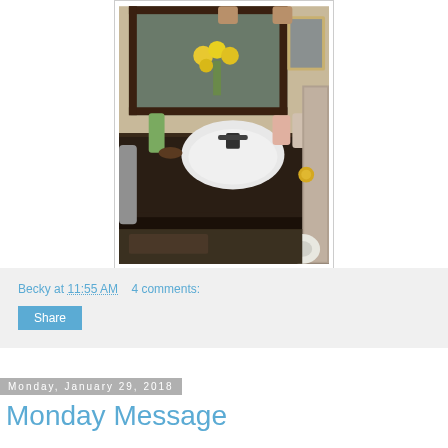[Figure (photo): Bathroom vanity with dark countertop, white oval sink, yellow flowers, mirror, framed pictures on wall, various toiletries, and toilet paper visible in background]
Becky at 11:55 AM    4 comments:
Share
Monday, January 29, 2018
Monday Message